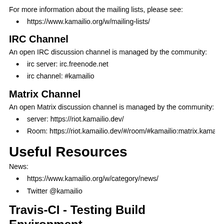For more information about the mailing lists, please see:
https://www.kamailio.org/w/mailing-lists/
IRC Channel
An open IRC discussion channel is managed by the community:
irc server: irc.freenode.net
irc channel: #kamailio
Matrix Channel
An open Matrix discussion channel is managed by the community:
server: https://riot.kamailio.dev/
Room: https://riot.kamailio.dev/#/room/#kamailio:matrix.kamailio.de
Useful Resources
News:
https://www.kamailio.org/w/category/news/
Twitter @kamailio
Travis-CI - Testing Build Environment
travis-ci
docker build